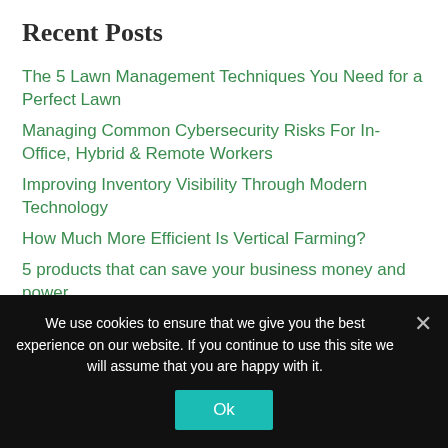Recent Posts
The 5 Lawn Management Techniques You Need for a Perfect Lawn
Managing Common Cybersecurity Risks For In-Office, Hybrid & Remote Workers
Improving Inventory Visibility Through Modern Technology
How Much More Efficient Is Vertical Farming?
5 products that can save your business money and power
Categories
We use cookies to ensure that we give you the best experience on our website. If you continue to use this site we will assume that you are happy with it.